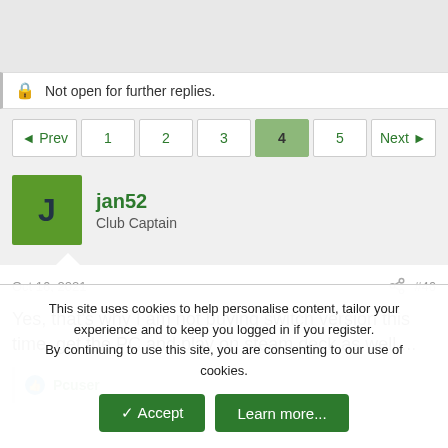Not open for further replies.
◄ Prev  1  2  3  4  5  Next ►
jan52
Club Captain
Oct 16, 2021  #46
Yes, that's why I am not buying switch version this time, get the PC and play on steam deck as well....
Pcuser
This site uses cookies to help personalise content, tailor your experience and to keep you logged in if you register.
By continuing to use this site, you are consenting to our use of cookies.